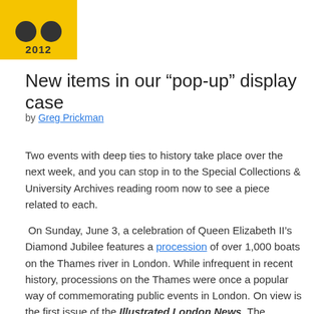[Figure (logo): Yellow square logo with two dark circles and the year 2012]
New items in our “pop-up” display case
by Greg Prickman
Two events with deep ties to history take place over the next week, and you can stop in to the Special Collections & University Archives reading room now to see a piece related to each.
On Sunday, June 3, a celebration of Queen Elizabeth II’s Diamond Jubilee features a procession of over 1,000 boats on the Thames river in London. While infrequent in recent history, processions on the Thames were once a popular way of commemorating public events in London. On view is the first issue of the Illustrated London News. The newspaper’s famous header image features a view of a water procession on the Thames as a part of the Lord Mayor’s Day.